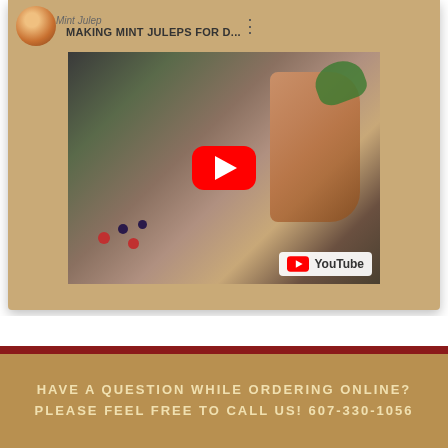[Figure (screenshot): YouTube video embed showing 'MAKING MINT JULEPS FOR D...' with a copper mug, berries, and mint thumbnail. Red play button overlay and YouTube logo badge visible.]
HAVE A QUESTION WHILE ORDERING ONLINE?
PLEASE FEEL FREE TO CALL US! 607-330-1056